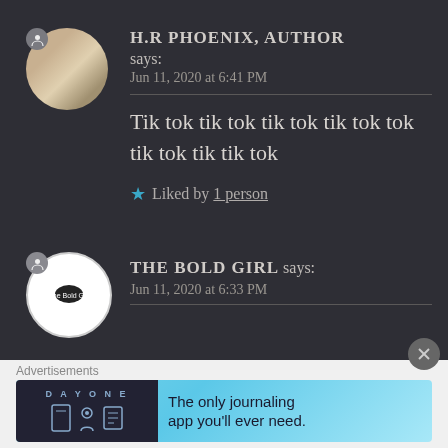H.R PHOENIX, AUTHOR says:
Jun 11, 2020 at 6:41 PM
Tik tok tik tok tik tok tik tok tok tik tok tik tik tok
★ Liked by 1 person
THE BOLD GIRL says:
Jun 11, 2020 at 6:33 PM
Advertisements
[Figure (screenshot): DayOne journaling app advertisement banner with text: The only journaling app you'll ever need.]